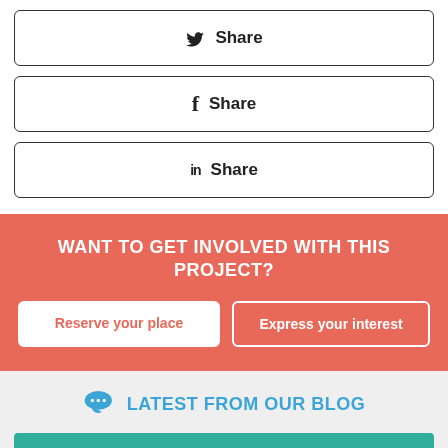Twitter Share
Facebook Share
LinkedIn Share
WANT TO GET INVOLVED WITH THIS PROJECT?
Reserve your place
Express your interest
LATEST FROM OUR BLOG
[Figure (photo): Green banner image strip at the bottom of the page]